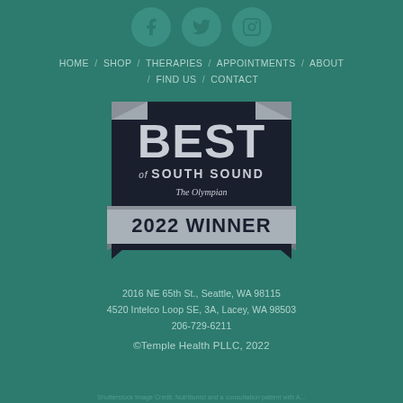[Figure (logo): Social media icons: Facebook, Twitter, Instagram in circular teal buttons]
HOME / SHOP / THERAPIES / APPOINTMENTS / ABOUT / FIND US / CONTACT
[Figure (logo): Best of South Sound - The Olympian - 2022 Winner award badge]
2016 NE 65th St., Seattle, WA 98115
4520 Intelco Loop SE, 3A, Lacey, WA 98503
206-729-6211
©Temple Health PLLC, 2022
Shutterstock Image Credit: Nutritionist and a consultation patient with A...